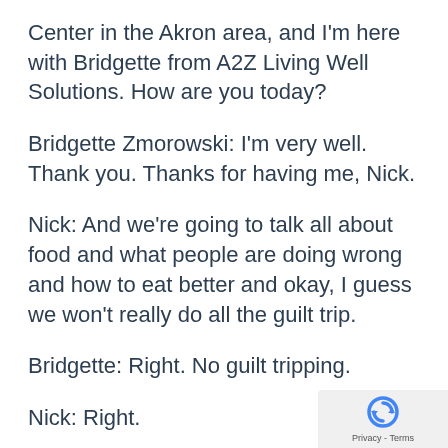Center in the Akron area, and I'm here with Bridgette from A2Z Living Well Solutions. How are you today?
Bridgette Zmorowski: I'm very well. Thank you. Thanks for having me, Nick.
Nick: And we're going to talk all about food and what people are doing wrong and how to eat better and okay, I guess we won't really do all the guilt trip.
Bridgette: Right. No guilt tripping.
Nick: Right.
Bridgette: We want to keep it a fun thing
[Figure (logo): reCAPTCHA privacy badge with circular arrow icon and 'Privacy - Terms' text]